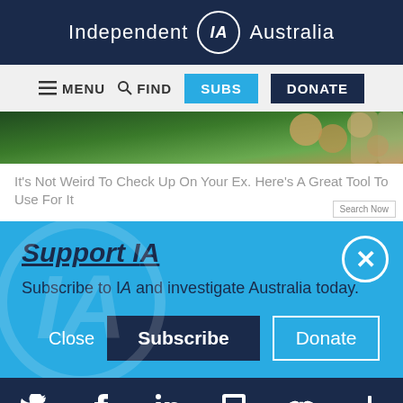Independent IA Australia
[Figure (screenshot): Navigation bar with MENU, FIND, SUBS (cyan button), DONATE (dark blue button)]
[Figure (photo): Partial article image showing green coins/money background]
It's Not Weird To Check Up On Your Ex. Here's A Great Tool To Use For It
Support IA
Subscribe to IA and investigate Australia today.
Close  Subscribe  Donate
Social icons: Twitter, Facebook, LinkedIn, Flipboard, link, plus